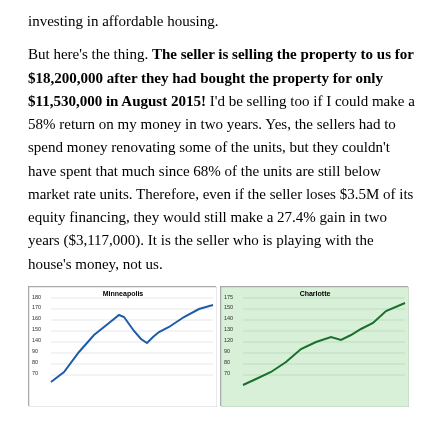investing in affordable housing.
But here's the thing. The seller is selling the property to us for $18,200,000 after they had bought the property for only $11,530,000 in August 2015! I'd be selling too if I could make a 58% return on my money in two years. Yes, the sellers had to spend money renovating some of the units, but they couldn't have spent that much since 68% of the units are still below market rate units. Therefore, even if the seller loses $3.5M of its equity financing, they would still make a 27.4% gain in two years ($3,117,000). It is the seller who is playing with the house's money, not us.
[Figure (line-chart): Line chart showing Minneapolis housing index over time, rising then declining then rising again]
[Figure (line-chart): Line chart showing Charlotte housing index over time, generally rising with some fluctuation]